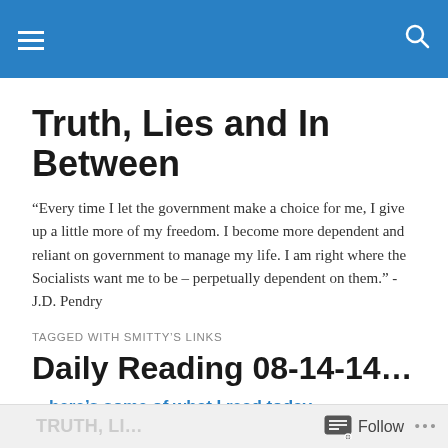Truth, Lies and In Between — header bar
Truth, Lies and In Between
“Every time I let the government make a choice for me, I give up a little more of my freedom. I become more dependent and reliant on government to manage my life. I am right where the Socialists want me to be – perpetually dependent on them.” -J.D. Pendry
TAGGED WITH SMITTY’S LINKS
Daily Reading 08-14-14…
…here’s some of what I read today.
Follow